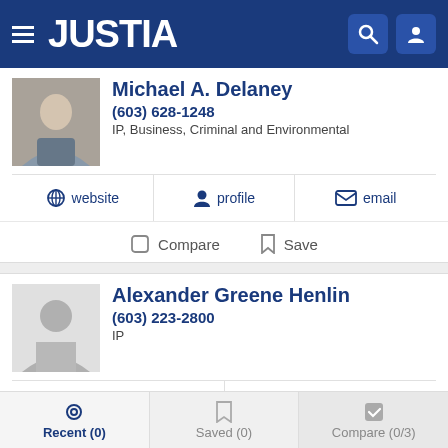JUSTIA
Michael A. Delaney
(603) 628-1248
IP, Business, Criminal and Environmental
website | profile | email
Compare | Save
Alexander Greene Henlin
(603) 223-2800
IP
profile | email
Compare | Save
Recent (0) | Saved (0) | Compare (0/3)